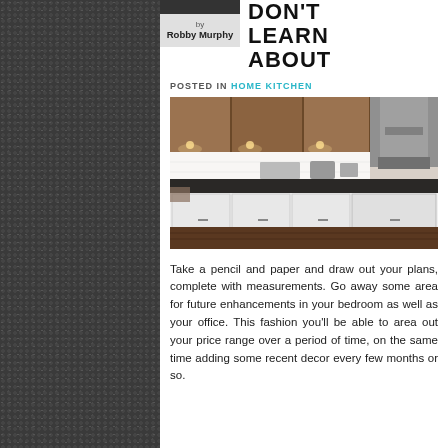DON'T LEARN ABOUT
by Robby Murphy
POSTED IN HOME KITCHEN
[Figure (photo): Modern kitchen interior with wooden upper cabinets, white lower cabinets, dark countertops, stainless steel appliances and range hood]
Take a pencil and paper and draw out your plans, complete with measurements. Go away some area for future enhancements in your bedroom as well as your office. This fashion you'll be able to area out your price range over a period of time, on the same time adding some recent decor every few months or so.